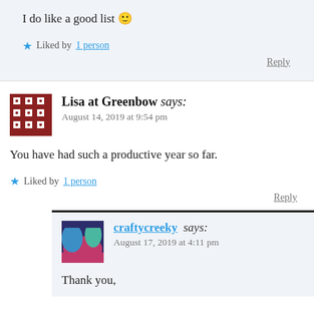I do like a good list 🙂
★ Liked by 1 person
Reply
Lisa at Greenbow says:
August 14, 2019 at 9:54 pm
You have had such a productive year so far.
★ Liked by 1 person
Reply
craftycreeky says:
August 17, 2019 at 4:11 pm
Thank you,